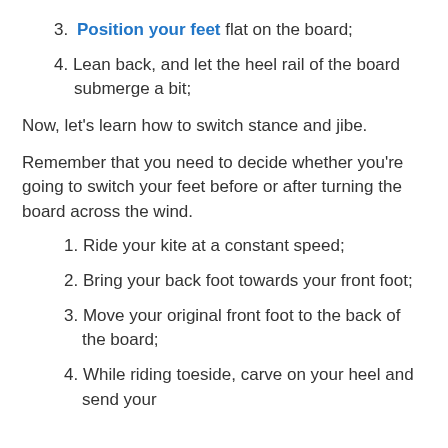3. Position your feet flat on the board;
4. Lean back, and let the heel rail of the board submerge a bit;
Now, let's learn how to switch stance and jibe.
Remember that you need to decide whether you're going to switch your feet before or after turning the board across the wind.
1. Ride your kite at a constant speed;
2. Bring your back foot towards your front foot;
3. Move your original front foot to the back of the board;
4. While riding toeside, carve on your heel and send your